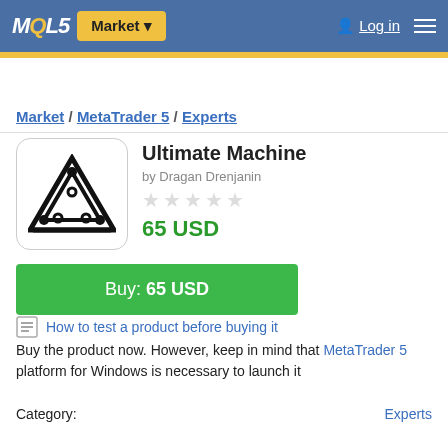MQL5 Market ▾ Log in ☰
Market / MetaTrader 5 / Experts
[Figure (logo): Ultimate Machine product logo: triangle with circuit-like symbols in black on white background]
Ultimate Machine
by Dragan Drenjanin
★★★★★ (empty stars)
65 USD
Buy: 65 USD
How to test a product before buying it
Buy the product now. However, keep in mind that MetaTrader 5 platform for Windows is necessary to launch it
Category: Experts